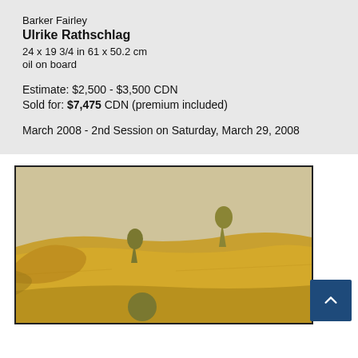Barker Fairley
Ulrike Rathschlag
24 x 19 3/4 in 61 x 50.2 cm
oil on board
Estimate: $2,500 - $3,500 CDN
Sold for: $7,475 CDN (premium included)
March 2008 - 2nd Session on Saturday, March 29, 2008
[Figure (photo): Oil painting of a golden-yellow landscape with rolling hills, two small tree-like forms on the horizon, and a round shrub in the foreground, framed in black.]